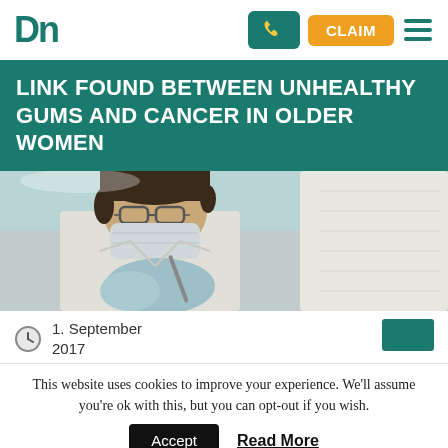DN | Phone | CLAIM | Menu
LINK FOUND BETWEEN UNHEALTHY GUMS AND CANCER IN OLDER WOMEN
[Figure (photo): A dental professional wearing gloves, mask, and lab coat performing a dental procedure, viewed close-up from the side.]
1. September 2017
This website uses cookies to improve your experience. We'll assume you're ok with this, but you can opt-out if you wish.